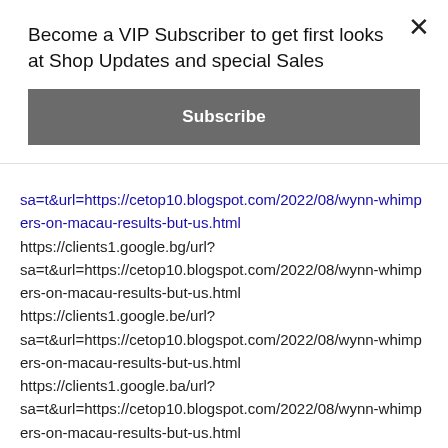Become a VIP Subscriber to get first looks at Shop Updates and special Sales
Subscribe
sa=t&url=https://cetop10.blogspot.com/2022/08/wynn-whimpers-on-macau-results-but-us.html https://clients1.google.bg/url?sa=t&url=https://cetop10.blogspot.com/2022/08/wynn-whimpers-on-macau-results-but-us.html https://clients1.google.be/url?sa=t&url=https://cetop10.blogspot.com/2022/08/wynn-whimpers-on-macau-results-but-us.html https://clients1.google.ba/url?sa=t&url=https://cetop10.blogspot.com/2022/08/wynn-whimpers-on-macau-results-but-us.html https://clients1.google.az/url?sa=t&url=https://cetop10.blogspot.com/2022/08/wynn-whimpers-on-macau-results-but-us.html https://clients1.google.at/url?